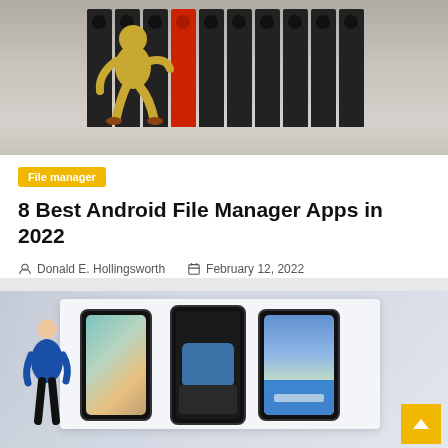[Figure (photo): Gold 3D figure walking past a row of black binders with one red binder standing out]
File manager
8 Best Android File Manager Apps in 2022
Donald E. Hollingsworth   February 12, 2022
[Figure (photo): Person in blue shirt presenting in front of a large screen showing three iPhones with various iOS features]